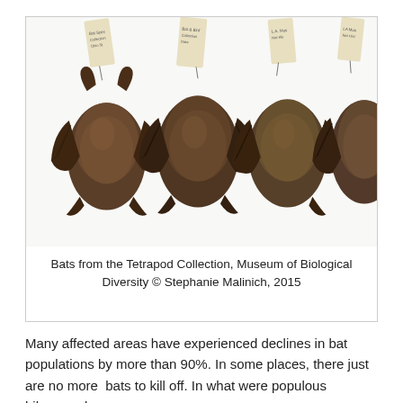[Figure (photo): Four preserved bat specimens arranged side by side, displayed with their backs showing and small identification tags attached. Museum collection specimens photographed on white background.]
Bats from the Tetrapod Collection, Museum of Biological Diversity © Stephanie Malinich, 2015
Many affected areas have experienced declines in bat populations by more than 90%. In some places, there just are no more bats to kill off. In what were populous hibernacula,